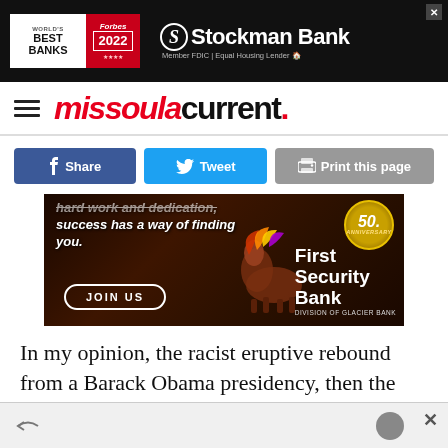[Figure (other): Stockman Bank advertisement banner with Forbes World's Best Banks 2022 badge on dark background]
missoula current.
[Figure (other): Social sharing buttons: Share (Facebook), Tweet (Twitter), Print this page]
[Figure (other): First Security Bank advertisement with text 'hard work and dedication, success has a way of finding you.' JOIN US button and 50th anniversary badge]
In my opinion, the racist eruptive rebound from a Barack Obama presidency, then the stressful years of Trump with assaults on decency and
[Figure (other): Bottom advertisement strip with arrow icon and close button]